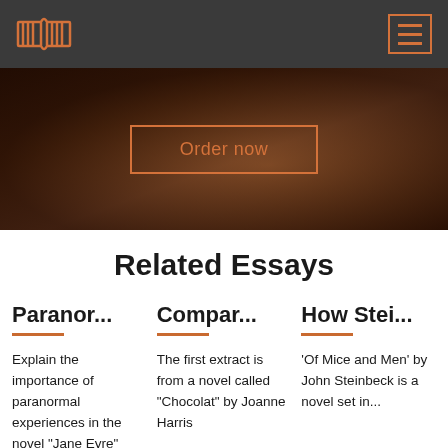[Logo] [Hamburger menu]
[Figure (screenshot): Hero image with dark brown bokeh background and 'Order now' button with orange border]
Related Essays
Paranor...
Explain the importance of paranormal experiences in the novel "Jane Eyre"
Compar...
The first extract is from a novel called "Chocolat" by Joanne Harris
How Stei...
'Of Mice and Men' by John Steinbeck is a novel set in...